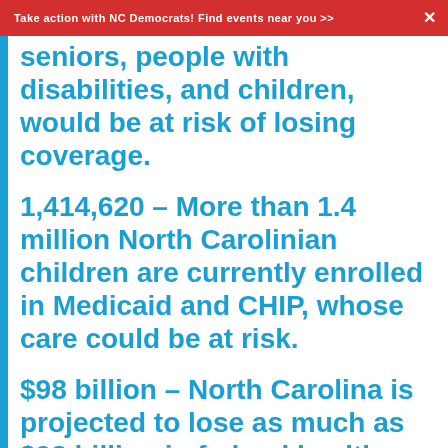Take action with NC Democrats! Find events near you >>  ✕
seniors, people with disabilities, and children, would be at risk of losing coverage.
1,414,620 – More than 1.4 million North Carolinian children are currently enrolled in Medicaid and CHIP, whose care could be at risk.
$98 billion – North Carolina is projected to lose as much as $98 billion in federal health care funding over the next two